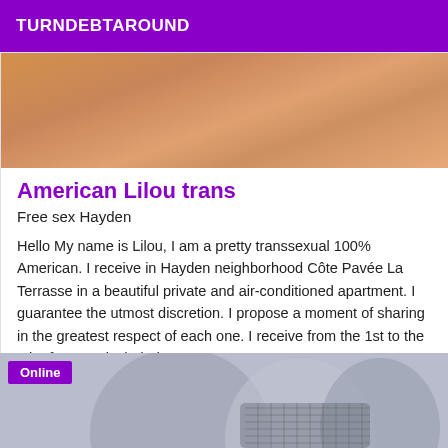TURNDEBTAROUND
[Figure (photo): Close-up photo of a person wearing an orange/tan top, cropped view of torso area]
American Lilou trans
Free sex Hayden
Hello My name is Lilou, I am a pretty transsexual 100% American. I receive in Hayden neighborhood Côte Pavée La Terrasse in a beautiful private and air-conditioned apartment. I guarantee the utmost discretion. I propose a moment of sharing in the greatest respect of each one. I receive from the 1st to the 9th of August included.
[Figure (photo): Close-up blurred photo, appears to show metallic/silver objects, with an 'Online' badge overlay in purple]